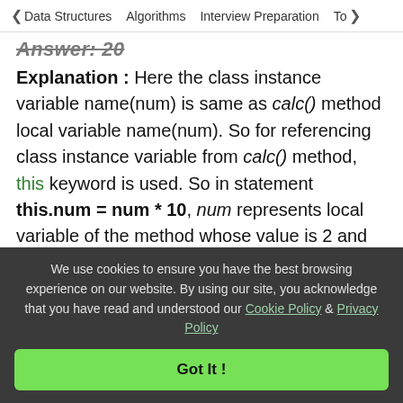< Data Structures   Algorithms   Interview Preparation   To>
Answer: 20
Explanation : Here the class instance variable name(num) is same as calc() method local variable name(num). So for referencing class instance variable from calc() method, this keyword is used. So in statement this.num = num * 10, num represents local variable of the method whose value is 2 and this.num represents class instance variable whose initial value is 100. Now in printNum() method, as it has no local variable whose name is same as class instance variable, so
We use cookies to ensure you have the best browsing experience on our website. By using our site, you acknowledge that you have read and understood our Cookie Policy & Privacy Policy
Got It !